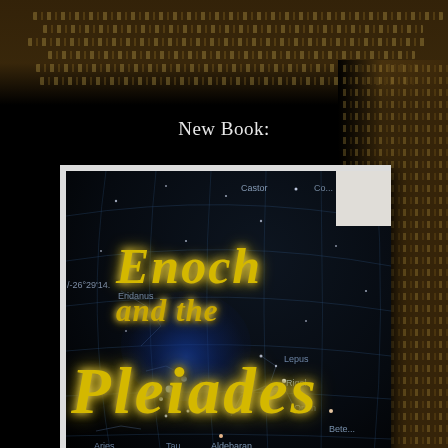New Book:
[Figure (illustration): Book cover for 'Enoch and the Pleiades' showing a star chart with constellation lines on a dark background, with the Pleiades star cluster visible in blue. The title 'Enoch and the Pleiades' is written in gold italic serif font with a glow effect. Constellation labels including Eridanus, Orion, Rigel, Aldebaran, Aries, Taurus, Lepus, Castor, and Betelgeuse are visible. The cover has a white border on the left and top edges.]